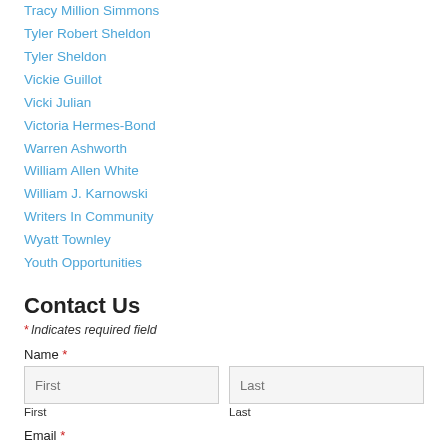Tracy Million Simmons
Tyler Robert Sheldon
Tyler Sheldon
Vickie Guillot
Vicki Julian
Victoria Hermes-Bond
Warren Ashworth
William Allen White
William J. Karnowski
Writers In Community
Wyatt Townley
Youth Opportunities
Contact Us
* Indicates required field
Name *
First
Last
Email *